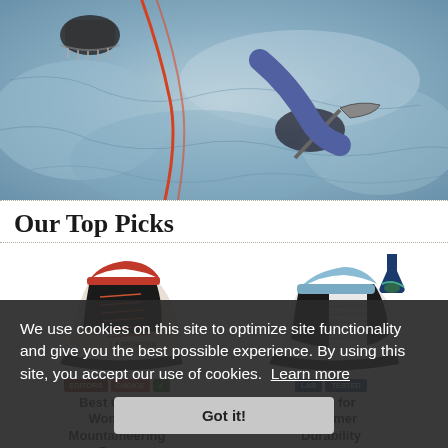[Figure (photo): Overhead view of mountaineers on ice/snow with rope and ice axes visible]
Our Top Picks
[Figure (photo): Women's mountaineering boot (left product) with red and black coloring, Editor's Choice badge]
Best Overall Women's Mountaineering Boots
[Figure (photo): Mountaineering boot (right product) with black and white/grey coloring, lab tested badge]
Best for Summer Durability
We use cookies on this site to optimize site functionality and give you the best possible experience. By using this site, you accept our use of cookies.  Learn more
Got it!